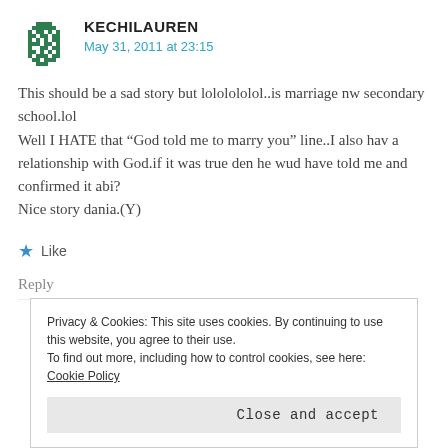KECHILAUREN
May 31, 2011 at 23:15
This should be a sad story but lololololol..is marriage nw secondary school.lol
Well I HATE that “God told me to marry you” line..I also hav a relationship with God.if it was true den he wud have told me and confirmed it abi?
Nice story dania.(Y)
★ Like
Reply
Privacy & Cookies: This site uses cookies. By continuing to use this website, you agree to their use.
To find out more, including how to control cookies, see here: Cookie Policy
Close and accept